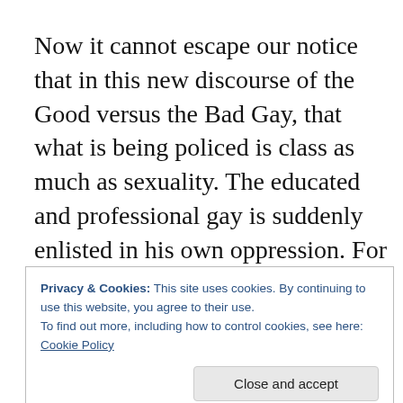Now it cannot escape our notice that in this new discourse of the Good versus the Bad Gay, that what is being policed is class as much as sexuality. The educated and professional gay is suddenly enlisted in his own oppression. For while he might be a man who has sex with men, at least this one transgression happens in the confines of his private bedroom. Outside, he knows how to behave, and this makes him superior. He is better than the misbehaving miscreants of Jamaica Carnival 2013. And I
Privacy & Cookies: This site uses cookies. By continuing to use this website, you agree to their use.
To find out more, including how to control cookies, see here: Cookie Policy
Close and accept
the unwitting  advocacy of those he now turns his nose up